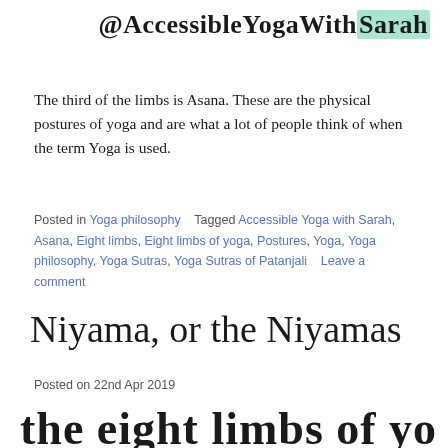@AccessibleYogaWithSarah
The third of the limbs is Asana. These are the physical postures of yoga and are what a lot of people think of when the term Yoga is used.
Posted in Yoga philosophy    Tagged Accessible Yoga with Sarah, Asana, Eight limbs, Eight limbs of yoga, Postures, Yoga, Yoga philosophy, Yoga Sutras, Yoga Sutras of Patanjali    Leave a comment
Niyama, or the Niyamas
Posted on 22nd Apr 2019
[Figure (illustration): Cursive handwritten text reading 'the eight limbs of yoga' partially visible at bottom of page]